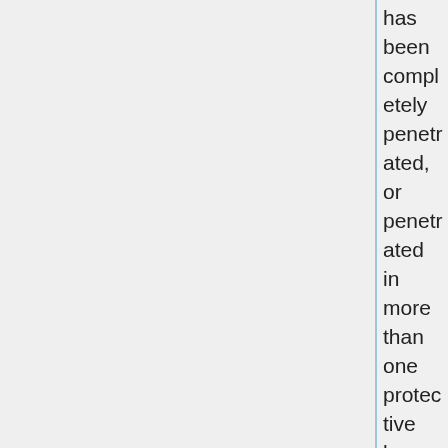has been completely penetrated, or penetrated in more than one protective layer, it fails. If only one protective layer (where other equivalent or sturdier layers